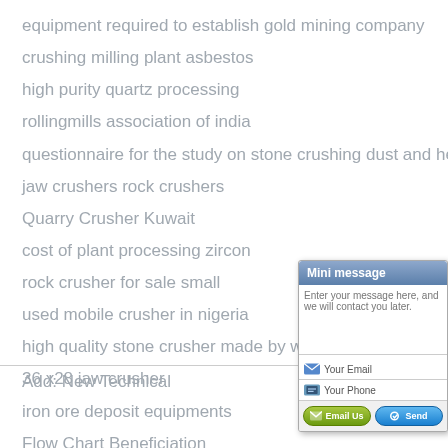equipment required to establish gold mining company
crushing milling plant asbestos
high purity quartz processing
rollingmills association of india
questionnaire for the study on stone crushing dust and health impact
jaw crushers rock crushers
Quarry Crusher Kuwait
cost of plant processing zircon
rock crusher for sale small
used mobile crusher in nigeria
high quality stone crusher made by wankuan
36 x28 jaw crusher
iron ore deposit equipments
Flow Chart Beneficiation
coal crusher preventive maintenance free
Add: New Technical
[Figure (screenshot): Mini message widget with textarea for entering a message, email input field, phone input field, and Email Us / Send buttons]